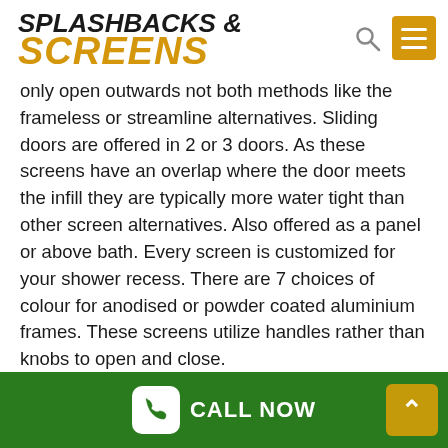SPLASHBACKS & SCREENS
only open outwards not both methods like the frameless or streamline alternatives. Sliding doors are offered in 2 or 3 doors. As these screens have an overlap where the door meets the infill they are typically more water tight than other screen alternatives. Also offered as a panel or above bath. Every screen is customized for your shower recess. There are 7 choices of colour for anodised or powder coated aluminium frames. These screens utilize handles rather than knobs to open and close.
Semi Frameless Shower Screens In Camperdown
Our ever popular semi frameless shower screen offers
CALL NOW